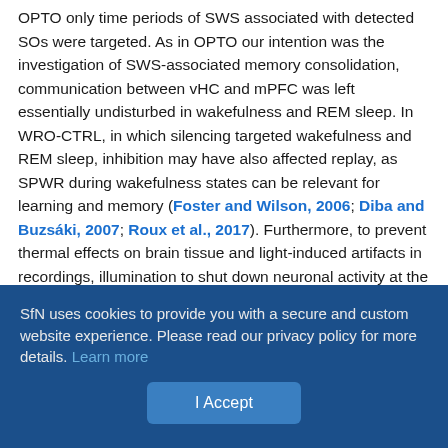OPTO only time periods of SWS associated with detected SOs were targeted. As in OPTO our intention was the investigation of SWS-associated memory consolidation, communication between vHC and mPFC was left essentially undisturbed in wakefulness and REM sleep. In WRO-CTRL, in which silencing targeted wakefulness and REM sleep, inhibition may have also affected replay, as SPWR during wakefulness states can be relevant for learning and memory (Foster and Wilson, 2006; Diba and Buzsáki, 2007; Roux et al., 2017). Furthermore, to prevent thermal effects on brain tissue and light-induced artifacts in recordings, illumination to shut down neuronal activity at the axonal terminals was not provided constantly, but on average every 4 s. iChloC is an opsin with slow off-kinetics that has been shown to silence neuronal activity for 3–5 s (Wietek et
SfN uses cookies to provide you with a secure and custom website experience. Please read our privacy policy for more details. Learn more